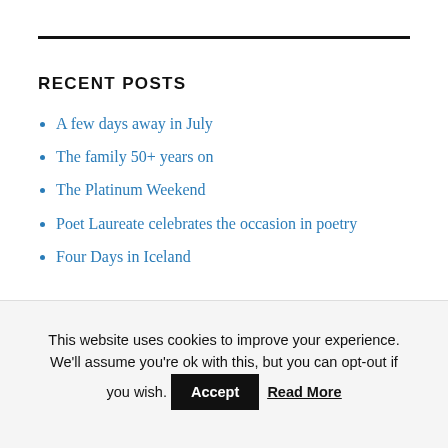RECENT POSTS
A few days away in July
The family 50+ years on
The Platinum Weekend
Poet Laureate celebrates the occasion in poetry
Four Days in Iceland
This website uses cookies to improve your experience. We'll assume you're ok with this, but you can opt-out if you wish.  Accept  Read More